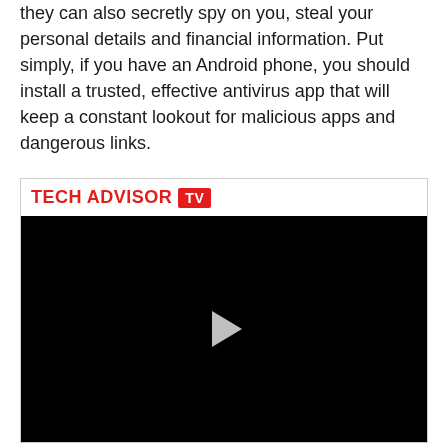they can also secretly spy on you, steal your personal details and financial information. Put simply, if you have an Android phone, you should install a trusted, effective antivirus app that will keep a constant lookout for malicious apps and dangerous links.
[Figure (screenshot): Tech Advisor TV video player embed with logo header showing 'TECH ADVISOR TV' in red, and a black video screen with a white play button triangle in the center.]